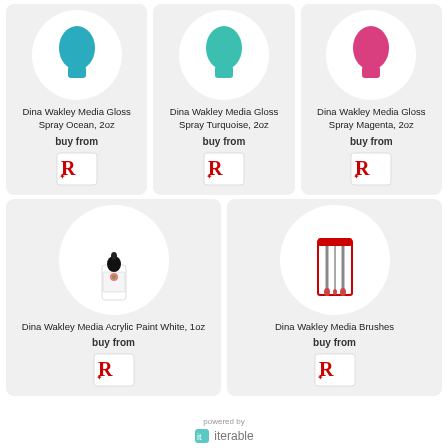[Figure (photo): Dina Wakley Media Gloss Spray Ocean 2oz product card with retailer logo]
[Figure (photo): Dina Wakley Media Gloss Spray Turquoise 2oz product card with retailer logo]
[Figure (photo): Dina Wakley Media Gloss Spray Magenta 2oz product card with retailer logo]
[Figure (photo): Dina Wakley Media Acrylic Paint White 1oz product card with retailer logo]
[Figure (photo): Dina Wakley Media Brushes product card with retailer logo]
powered by
[Figure (logo): Iterable logo]